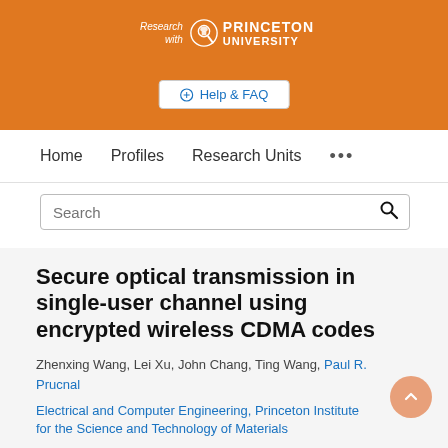[Figure (logo): Research with Princeton University logo — magnifying glass icon with Princeton University text in white on orange background]
Help & FAQ
Home   Profiles   Research Units   ...
Secure optical transmission in single-user channel using encrypted wireless CDMA codes
Zhenxing Wang, Lei Xu, John Chang, Ting Wang, Paul R. Prucnal
Electrical and Computer Engineering, Princeton Institute for the Science and Technology of Materials